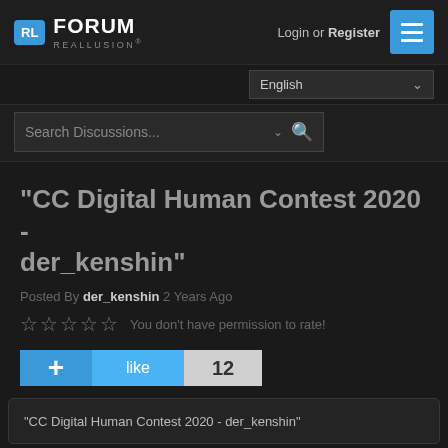RL FORUM REALLUSION® — Login or Register
English
Search Discussions...
"CC Digital Human Contest 2020 - der_kenshin"
Posted By der_kenshin 2 Years Ago
☆☆☆☆☆ You don't have permission to rate!
+ like 12
"CC Digital Human Contest 2020 - der_kenshin"